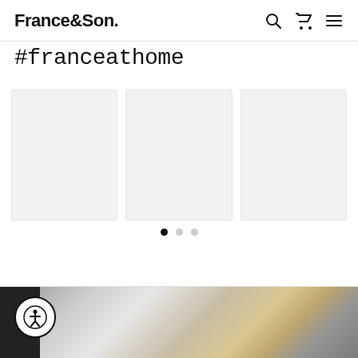France&Son.
#franceathome
[Figure (photo): Three placeholder image boxes arranged in a horizontal grid below the #franceathome hashtag heading, with pagination dots below]
[Figure (photo): Bottom section showing a partially visible interior/furniture scene with dark and warm tones, with an accessibility icon button overlaid on the left]